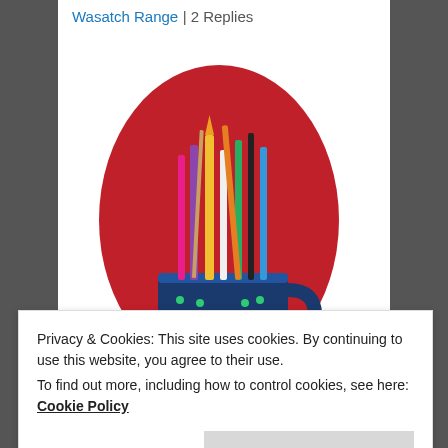Wasatch Range | 2 Replies
[Figure (photo): A blue ceramic mug labeled 'Connie' filled with various pens and pencils, set against a red oval background]
Privacy & Cookies: This site uses cookies. By continuing to use this website, you agree to their use.
To find out more, including how to control cookies, see here: Cookie Policy
Close and accept